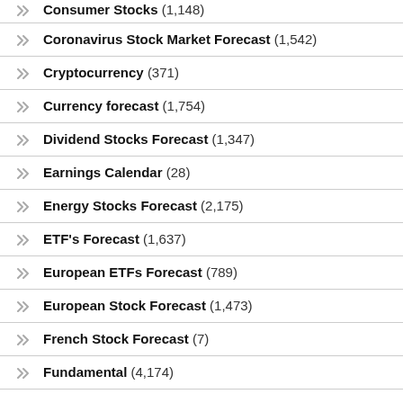Consumer Stocks (1,148)
Coronavirus Stock Market Forecast (1,542)
Cryptocurrency (371)
Currency forecast (1,754)
Dividend Stocks Forecast (1,347)
Earnings Calendar (28)
Energy Stocks Forecast (2,175)
ETF's Forecast (1,637)
European ETFs Forecast (789)
European Stock Forecast (1,473)
French Stock Forecast (7)
Fundamental (4,174)